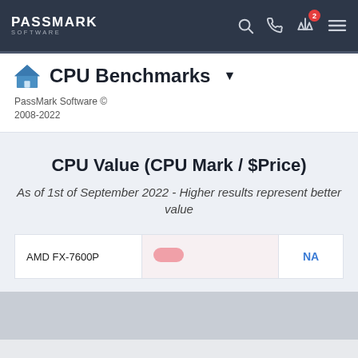PassMark Software
CPU Benchmarks
PassMark Software © 2008-2022
CPU Value (CPU Mark / $Price)
As of 1st of September 2022 - Higher results represent better value
| CPU | Bar | Value |
| --- | --- | --- |
| AMD FX-7600P |  | NA |